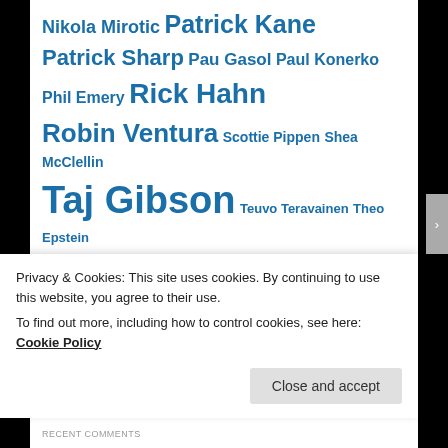Nikola Mirotic Patrick Kane Patrick Sharp Pau Gasol Paul Konerko Phil Emery Rick Hahn Robin Ventura Scottie Pippen Shea McClellin Taj Gibson Teuvo Teravainen Theo Epstein Tom Thibodeau Trade Rumors Uniforms Video Will Sutton
RECENT COMMENTS
Privacy & Cookies: This site uses cookies. By continuing to use this website, you agree to their use.
To find out more, including how to control cookies, see here: Cookie Policy